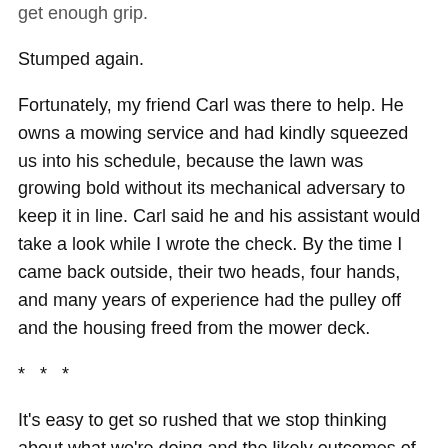get enough grip.
Stumped again.
Fortunately, my friend Carl was there to help. He owns a mowing service and had kindly squeezed us into his schedule, because the lawn was growing bold without its mechanical adversary to keep it in line. Carl said he and his assistant would take a look while I wrote the check. By the time I came back outside, their two heads, four hands, and many years of experience had the pulley off and the housing freed from the mower deck.
*   *   *
It's easy to get so rushed that we stop thinking about what we're doing and the likely outcomes of our actions.  There just doesn't seem to be enough time to finish everything we have to do (let alone enough to add in things we want